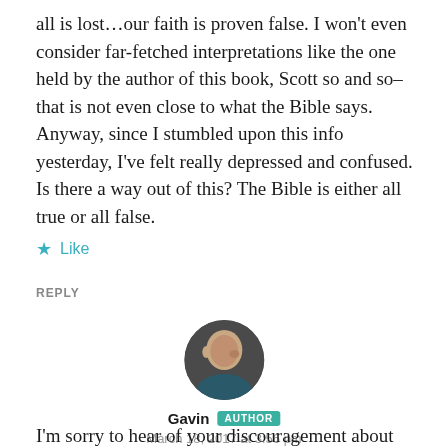all is lost…our faith is proven false. I won't even consider far-fetched interpretations like the one held by the author of this book, Scott so and so– that is not even close to what the Bible says. Anyway, since I stumbled upon this info yesterday, I've felt really depressed and confused. Is there a way out of this? The Bible is either all true or all false.
★ Like
REPLY
[Figure (photo): Circular avatar photo of a bald man looking to the side, dark background]
Gavin AUTHOR
March 18, 2017 at 3:56 pm
I'm sorry to hear of your discouragement about this